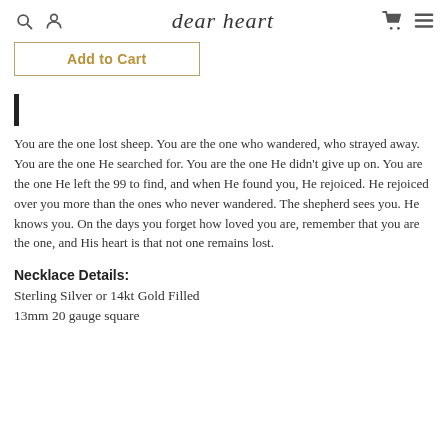dear heart
Add to Cart
You are the one lost sheep. You are the one who wandered, who strayed away. You are the one He searched for. You are the one He didn't give up on. You are the one He left the 99 to find, and when He found you, He rejoiced. He rejoiced over you more than the ones who never wandered. The shepherd sees you. He knows you. On the days you forget how loved you are, remember that you are the one, and His heart is that not one remains lost.
Necklace Details:
Sterling Silver or 14kt Gold Filled
13mm 20 gauge square